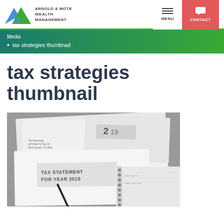ARNOLD & MOTE WEALTH MANAGEMENT | MENU | CONTACT
Media
tax strategies thumbnail
tax strategies thumbnail
[Figure (photo): Photo of tax documents including a TAX STATEMENT FOR YEAR 2019 form, a 1099 form showing 2019, and a spiral-bound notebook with a pen, all in black and white]